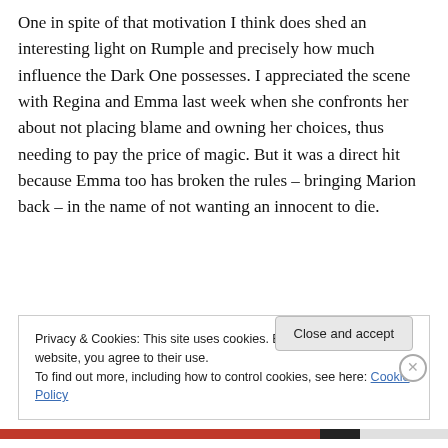One in spite of that motivation I think does shed an interesting light on Rumple and precisely how much influence the Dark One possesses. I appreciated the scene with Regina and Emma last week when she confronts her about not placing blame and owning her choices, thus needing to pay the price of magic. But it was a direct hit because Emma too has broken the rules – bringing Marion back – in the name of not wanting an innocent to die.
Privacy & Cookies: This site uses cookies. By continuing to use this website, you agree to their use.
To find out more, including how to control cookies, see here: Cookie Policy